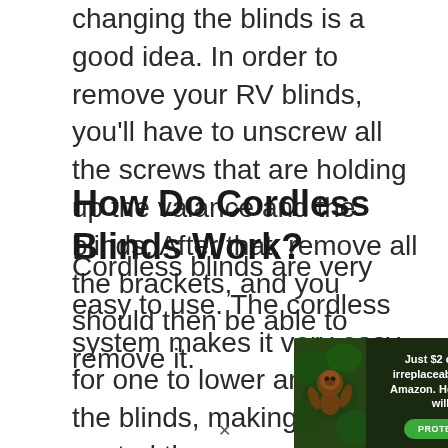changing the blinds is a good idea. In order to remove your RV blinds, you'll have to unscrew all the screws that are holding up the valance and the blinds. After that, remove all the brackets, and you should then be able to remove it.
How Do Cordless Blinds Work?
Cordless blinds are very easy to use. The cordless system makes it very easy for one to lower and raise the blinds, making it easy to control the amount of light entering, and of course your privacy
[Figure (other): Advertisement banner: 'Just $2 can protect 1 acre of irreplaceable forest homes in the Amazon. How many acres are you willing to protect?' with a green 'PROTECT FORESTS NOW' button and a photo of a rainforest animal.]